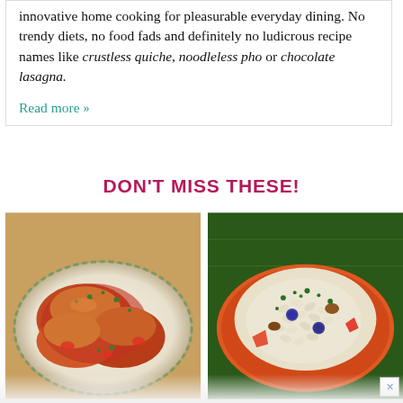innovative home cooking for pleasurable everyday dining. No trendy diets, no food fads and definitely no ludicrous recipe names like crustless quiche, noodleless pho or chocolate lasagna.
Read more »
DON'T MISS THESE!
[Figure (photo): Photo of chicken dish on a decorative plate with tomato sauce and herbs]
[Figure (photo): Photo of creamy pasta salad with vegetables and walnuts on an orange plate]